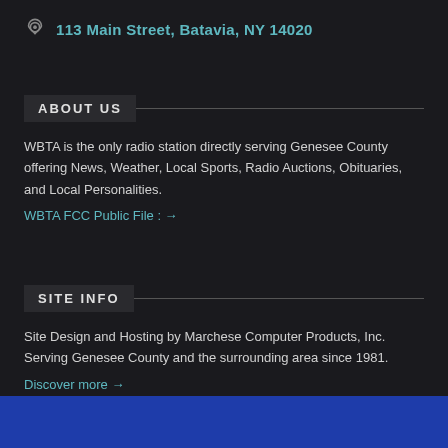113 Main Street, Batavia, NY 14020
ABOUT US
WBTA is the only radio station directly serving Genesee County offering News, Weather, Local Sports, Radio Auctions, Obituaries, and Local Personalities.
WBTA FCC Public File : →
SITE INFO
Site Design and Hosting by Marchese Computer Products, Inc. Serving Genesee County and the surrounding area since 1981.
Discover more →